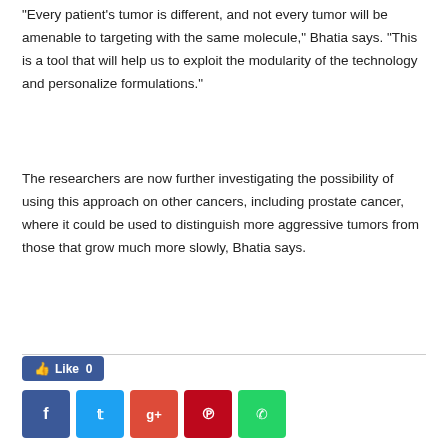“Every patient’s tumor is different, and not every tumor will be amenable to targeting with the same molecule,” Bhatia says. “This is a tool that will help us to exploit the modularity of the technology and personalize formulations.”
The researchers are now further investigating the possibility of using this approach on other cancers, including prostate cancer, where it could be used to distinguish more aggressive tumors from those that grow much more slowly, Bhatia says.
[Figure (infographic): Social sharing buttons: Facebook Like button (blue, count 0), then row of social icons: Facebook (dark blue), Twitter (light blue), Google+ (red), Pinterest (dark red), WhatsApp (green)]